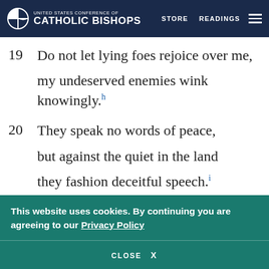UNITED STATES CONFERENCE OF CATHOLIC BISHOPS | STORE | READINGS
19 Do not let lying foes rejoice over me, my undeserved enemies wink knowingly.[h]
20 They speak no words of peace, but against the quiet in the land they fashion deceitful speech.[i]
21 They open wide their mouths against me.
This website uses cookies. By continuing you are agreeing to our Privacy Policy
CLOSE X